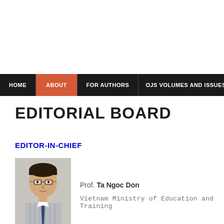HOME | ABOUT | FOR AUTHORS | OJS VOLUMES AND ISSUES
EDITORIAL BOARD
EDITOR-IN-CHIEF
[Figure (photo): Headshot photo of Prof. Ta Ngoc Don, a man wearing glasses and a striped shirt with a tie]
Prof. Ta Ngoc Don
Vietnam Ministry of Education and Training